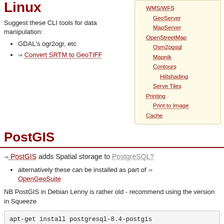Linux
Suggest these CLI tools for data manipulation:
GDAL's ogr2ogr, etc
⇒ Convert SRTM to GeoTIFF
[Figure (other): Navigation sidebar with links: WMS/WFS, GeoServer, MapServer, OpenStreetMap, Osm2pgsql, Mapnik, Contours, Hillshading, Serve Tiles, Printing, Print to Image, Cache]
PostGIS
⇒ PostGIS adds Spatial storage to PostgreSQL?
alternatively these can be installed as part of ⇒ OpenGeoSuite
NB PostGIS in Debian Lenny is rather old - recommend using the version in Squeeze
apt-get install postgresql-8.4-postgis
su postgres
createuser -s -P gis